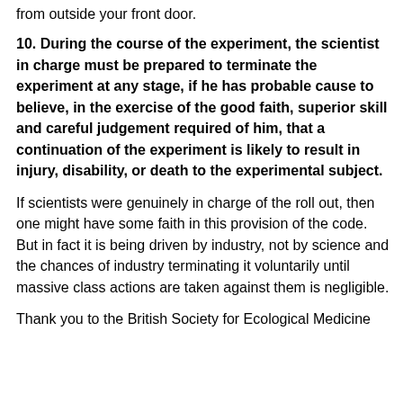from outside your front door.
10. During the course of the experiment, the scientist in charge must be prepared to terminate the experiment at any stage, if he has probable cause to believe, in the exercise of the good faith, superior skill and careful judgement required of him, that a continuation of the experiment is likely to result in injury, disability, or death to the experimental subject.
If scientists were genuinely in charge of the roll out, then one might have some faith in this provision of the code. But in fact it is being driven by industry, not by science and the chances of industry terminating it voluntarily until massive class actions are taken against them is negligible.
Thank you to the British Society for Ecological Medicine